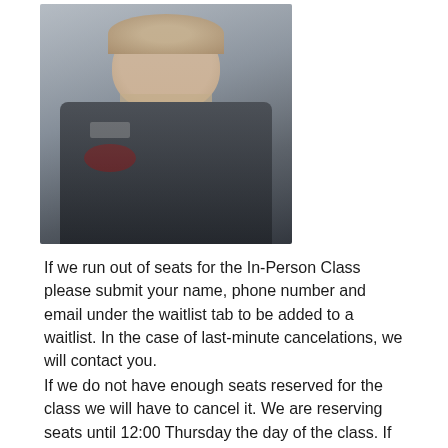[Figure (photo): Photo of a chef wearing a dark grey chef coat with a logo/emblem on the chest, light background, male, bearded]
If we run out of seats for the In-Person Class please submit your name, phone number and email under the waitlist tab to be added to a waitlist. In the case of last-minute cancelations, we will contact you.
If we do not have enough seats reserved for the class we will have to cancel it. We are reserving seats until 12:00 Thursday the day of the class. If we do not cancel the